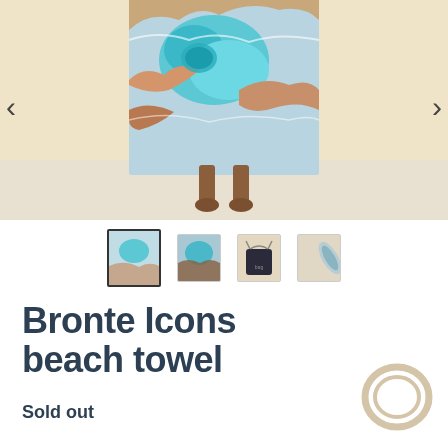[Figure (photo): Person holding a large beach towel printed with an aerial photo of Bronte beach/ocean pool, standing against a warm beige background. Person's feet visible below the towel.]
[Figure (photo): Row of four product thumbnail images: 1) active/selected thumbnail of folded towel with aerial print, 2) close-up of aerial beach print, 3) product shot with drawstring bag, 4) rolled-up towel.]
Bronte Icons beach towel
Sold out